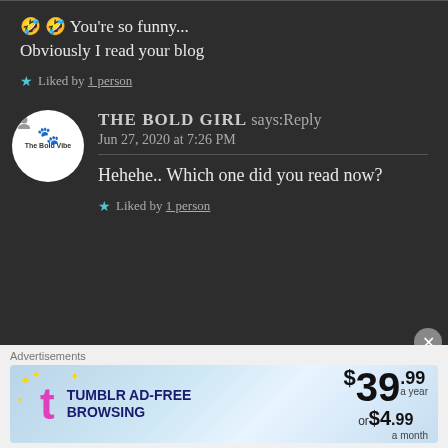🤣 🤣 You're so funny... Obviously I read your blog
★ Liked by 1 person
THE BOLD GIRL says: Reply
Jun 27, 2020 at 7:26 PM
Hehehe.. Which one did you read now?
★ Liked by 1 person
Advertisements
[Figure (other): Tumblr Ad-Free Browsing advertisement banner showing $39.99 a year or $4.99 a month pricing]